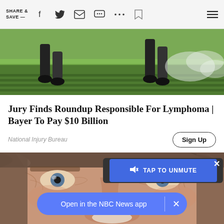SHARE & SAVE —
[Figure (photo): A person's legs and boots spraying pesticide in a green rice or crop field with mist visible]
Jury Finds Roundup Responsible For Lymphoma | Bayer To Pay $10 Billion
National Injury Bureau
[Figure (photo): Close-up portrait of a middle-aged man with grey hair and blue eyes smiling]
TAP TO UNMUTE
Open in the NBC News app